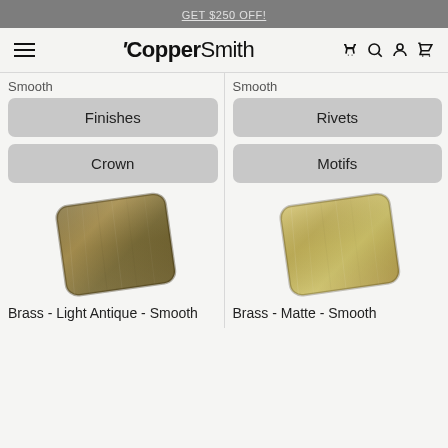GET $250 OFF!
[Figure (logo): CopperSmith logo with hamburger menu and nav icons (phone, search, account, cart)]
Smooth
Smooth
Finishes
Rivets
Crown
Motifs
[Figure (photo): Brass - Light Antique - Smooth material swatch card showing brushed dark golden-brown metallic texture, tilted slightly]
[Figure (photo): Brass - Matte - Smooth material swatch card showing brushed light golden metallic texture, tilted slightly]
Brass - Light Antique - Smooth
Brass - Matte - Smooth